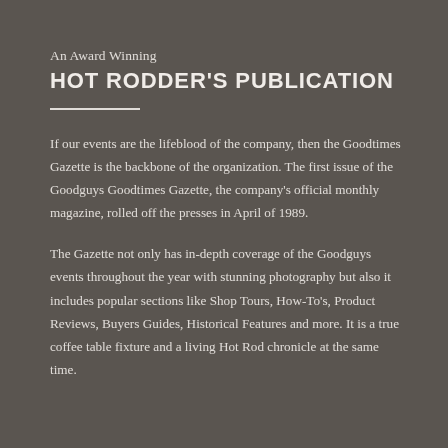An Award Winning
HOT RODDER'S PUBLICATION
If our events are the lifeblood of the company, then the Goodtimes Gazette is the backbone of the organization. The first issue of the Goodguys Goodtimes Gazette, the company's official monthly magazine, rolled off the presses in April of 1989.
The Gazette not only has in-depth coverage of the Goodguys events throughout the year with stunning photography but also it includes popular sections like Shop Tours, How-To's, Product Reviews, Buyers Guides, Historical Features and more. It is a true coffee table fixture and a living Hot Rod chronicle at the same time.